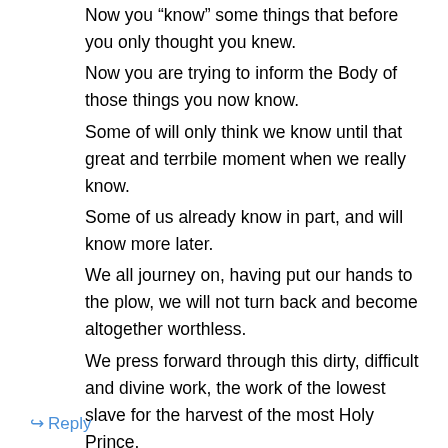Now you “know” some things that before you only thought you knew. Now you are trying to inform the Body of those things you now know. Some of will only think we know until that great and terrbile moment when we really know. Some of us already know in part, and will know more later. We all journey on, having put our hands to the plow, we will not turn back and become altogether worthless. We press forward through this dirty, difficult and divine work, the work of the lowest slave for the harvest of the most Holy Prince.
↪ Reply